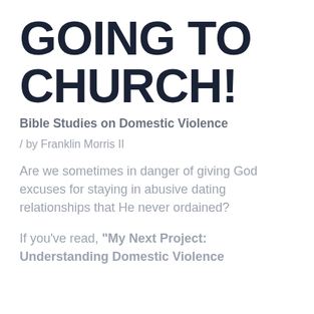GOING TO CHURCH!
Bible Studies on Domestic Violence
/ by Franklin Morris II
Are we sometimes in danger of giving God excuses for staying in abusive dating relationships that He never ordained?
If you've read, "My Next Project: Understanding Domestic Violence